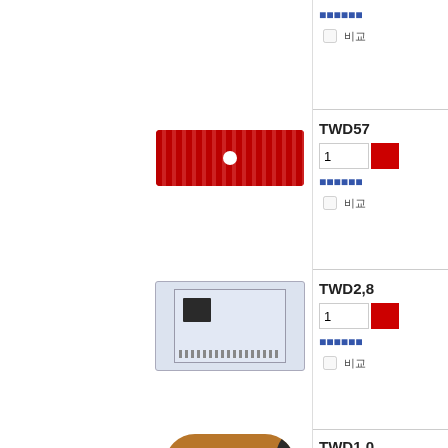[Figure (screenshot): E-commerce product listing page showing electronic components/modules with product codes TWD57..., TWD2,8..., TWD1,0..., each with quantity input fields, add-to-cart buttons, blue link text, and checkboxes. Left side is blank white. Right side shows product images and details.]
ꯆꯍꯦꯛꯀꯣꯠ (blue link text row 1)
□  비교
TWD57
1
ꯆꯍꯦꯛꯀꯣꯠ (blue link text row 2)
□  비교
TWD2,8
1
ꯆꯍꯦꯛꯀꯣꯠ (blue link text row 3)
□  비교
TWD1,0